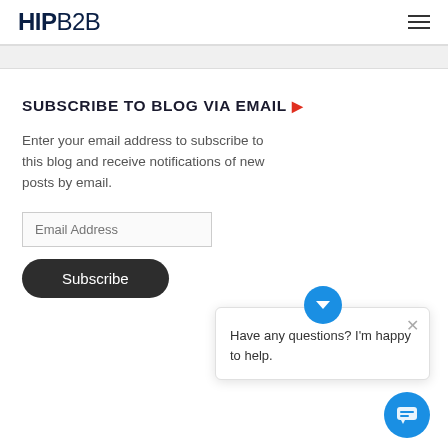HIPB2B
SUBSCRIBE TO BLOG VIA EMAIL
Enter your email address to subscribe to this blog and receive notifications of new posts by email.
Email Address
Subscribe
Have any questions? I'm happy to help.